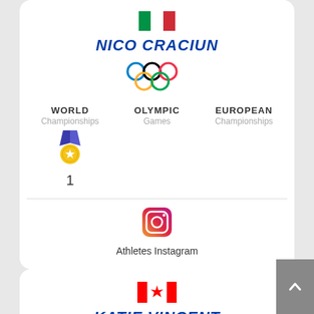[Figure (infographic): Italian flag emoji at top of first card]
NICO CRACIUN
[Figure (other): Olympic rings logo]
WORLD Championships
OLYMPIC Games
EUROPEAN Championships
[Figure (other): Gold medal with ribbon icon under WORLD Championships]
1
[Figure (other): Instagram icon]
Athletes Instagram
[Figure (infographic): Canadian flag emoji at top of second card]
KATIE VINCENT
[Figure (other): Olympic rings logo (partially visible)]